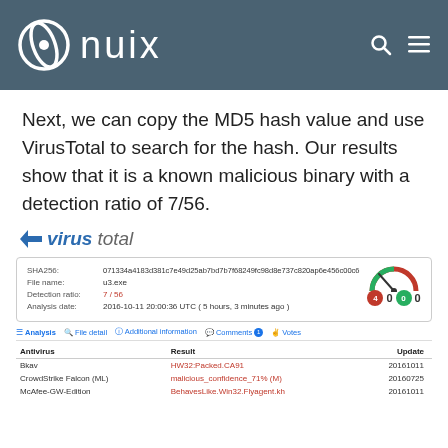nuix
Next, we can copy the MD5 hash value and use VirusTotal to search for the hash. Our results show that it is a known malicious binary with a detection ratio of 7/56.
[Figure (screenshot): VirusTotal scan result screenshot showing SHA256 hash, file name u3.exe, detection ratio 7/56, analysis date 2016-10-11 20:00:36 UTC with a gauge showing 4 red and 0 green, tabs for Analysis, File detail, Additional information, Comments, Votes, and a table with antivirus results including Bkav (HWS2:Packed.CA91), CrowdStrike Falcon (ML) (malicious_confidence_71% (M)), McAfee-GW-Edition (BehavesLike.Win32.Flyagent.kh)]